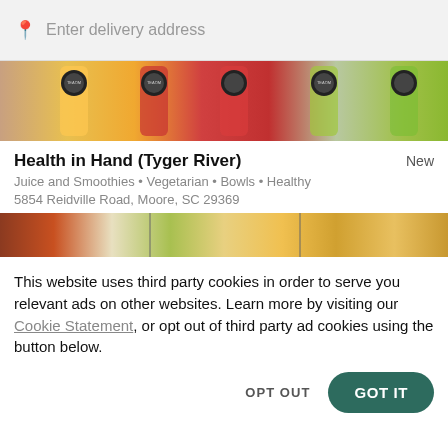Enter delivery address
[Figure (photo): Row of colorful juice/smoothie bottles with branded labels — yellow, orange, red, and green drinks visible]
Health in Hand (Tyger River)
New
Juice and Smoothies • Vegetarian • Bowls • Healthy
5854 Reidville Road, Moore, SC 29369
[Figure (photo): Food photo banner showing fries, salads and other dishes]
This website uses third party cookies in order to serve you relevant ads on other websites. Learn more by visiting our Cookie Statement, or opt out of third party ad cookies using the button below.
OPT OUT
GOT IT